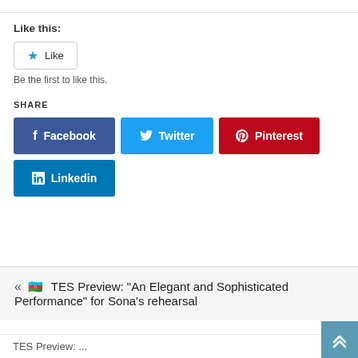Like this:
[Figure (other): Like button widget with star icon and text 'Like'. Below: 'Be the first to like this.']
SHARE
[Figure (other): Social share buttons: Facebook (blue), Twitter (light blue), Pinterest (red), Linkedin (dark blue)]
« 🇦🇿 TES Preview: "An Elegant and Sophisticated Performance" for Sona's rehearsal
TES Preview: ...